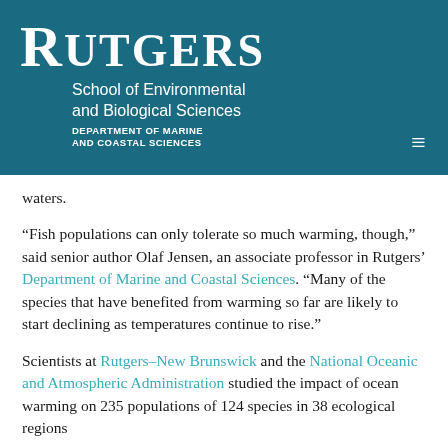[Figure (logo): Rutgers School of Environmental and Biological Sciences, Department of Marine and Coastal Sciences logo/header banner on teal background]
waters.
“Fish populations can only tolerate so much warming, though,” said senior author Olaf Jensen, an associate professor in Rutgers’ Department of Marine and Coastal Sciences. “Many of the species that have benefited from warming so far are likely to start declining as temperatures continue to rise.”
Scientists at Rutgers–New Brunswick and the National Oceanic and Atmospheric Administration studied the impact of ocean warming on 235 populations of 124 species in 38 ecological regions